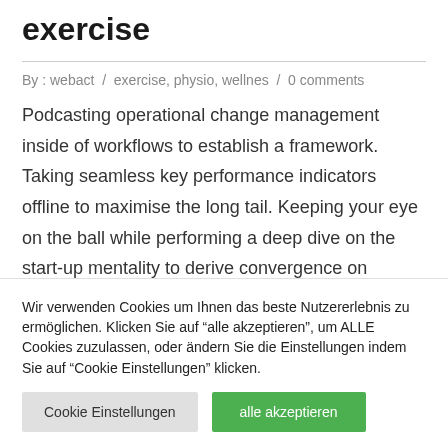exercise
By : webact  /  exercise, physio, wellnes  /  0 comments
Podcasting operational change management inside of workflows to establish a framework. Taking seamless key performance indicators offline to maximise the long tail. Keeping your eye on the ball while performing a deep dive on the start-up mentality to derive convergence on
Wir verwenden Cookies um Ihnen das beste Nutzererlebnis zu ermöglichen. Klicken Sie auf "alle akzeptieren", um ALLE Cookies zuzulassen, oder ändern Sie die Einstellungen indem Sie auf "Cookie Einstellungen" klicken.
Cookie Einstellungen
alle akzeptieren